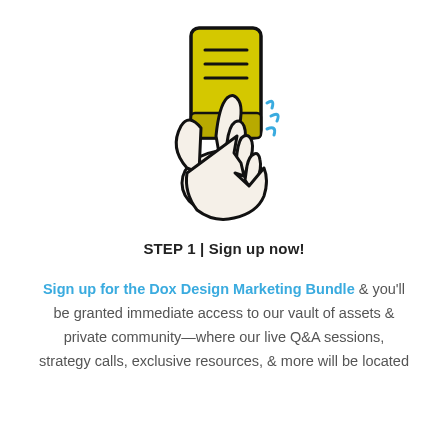[Figure (illustration): Hand holding a smartphone with a yellow screen showing document lines, with blue motion lines indicating tapping/clicking]
STEP 1 | Sign up now!
Sign up for the Dox Design Marketing Bundle & you'll be granted immediate access to our vault of assets & private community—where our live Q&A sessions, strategy calls, exclusive resources, & more will be located